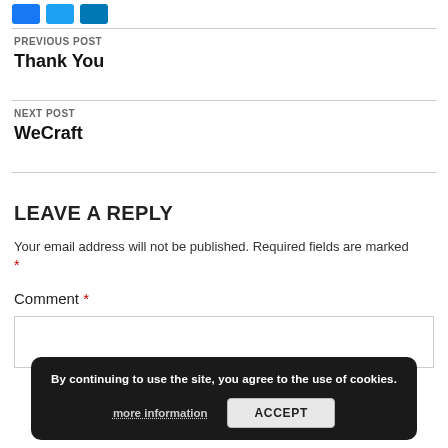[Figure (other): Three social media icon buttons (Facebook, Twitter, LinkedIn) in blue]
PREVIOUS POST
Thank You
NEXT POST
WeCraft
LEAVE A REPLY
Your email address will not be published. Required fields are marked *
Comment *
By continuing to use the site, you agree to the use of cookies. more information ACCEPT